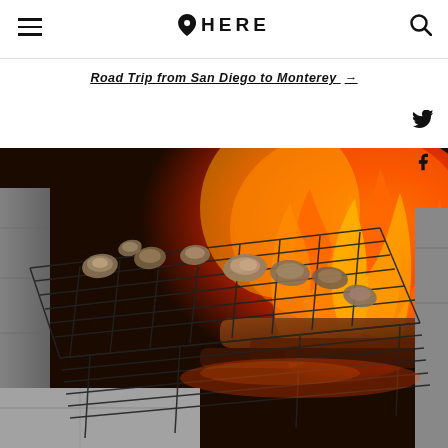HERE
Road Trip from San Diego to Monterey →
[Figure (photo): Oysters grilling on a wire rack over an open wood fire, with orange flames visible in the background and stone fireplace edges visible on the sides.]